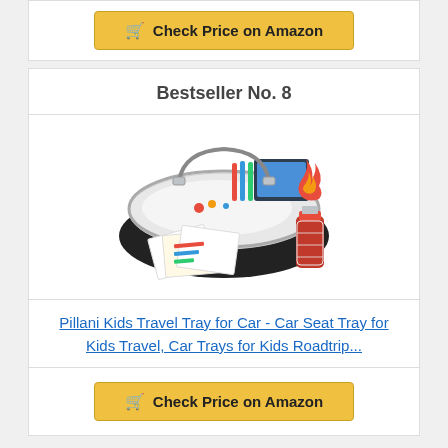Check Price on Amazon
Bestseller No. 8
[Figure (photo): Kids travel tray for car with organizer pockets, whiteboard surface, markers, activity cards, and water bottle holder]
Pillani Kids Travel Tray for Car - Car Seat Tray for Kids Travel, Car Trays for Kids Roadtrip...
Check Price on Amazon